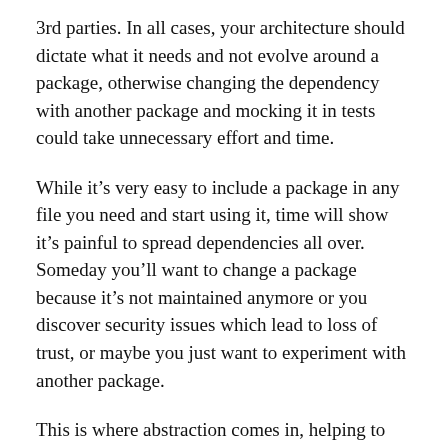3rd parties. In all cases, your architecture should dictate what it needs and not evolve around a package, otherwise changing the dependency with another package and mocking it in tests could take unnecessary effort and time.
While it's very easy to include a package in any file you need and start using it, time will show it's painful to spread dependencies all over. Someday you'll want to change a package because it's not maintained anymore or you discover security issues which lead to loss of trust, or maybe you just want to experiment with another package.
This is where abstraction comes in, helping to decouple an implementation in your project, to set the rules which a dependency must follow. Each package has its own API, thus you need to wrap it by your API.